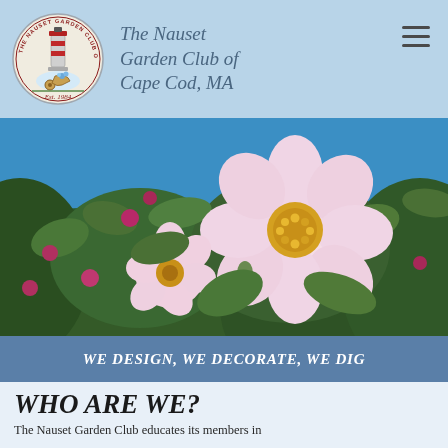[Figure (logo): Circular logo of The Nauset Garden Club of Cape Cod, MA, Est. 1984, featuring a lighthouse and wheelbarrow with flowers]
The Nauset Garden Club of Cape Cod, MA
[Figure (photo): Close-up photograph of pink flowering blossoms (possibly crabapple or wild rose) against a blue sky, with green foliage and pink buds]
WE DESIGN, WE DECORATE, WE DIG
WHO ARE WE?
The Nauset Garden Club educates its members in